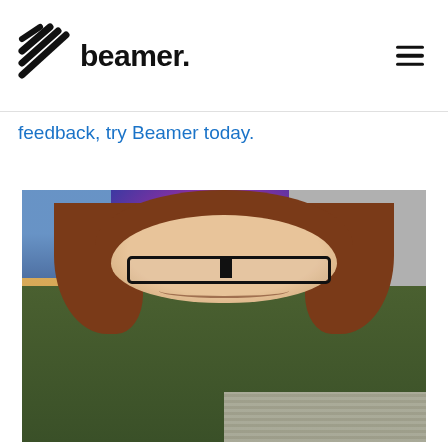beamer.
feedback, try Beamer today.
[Figure (photo): A young man with long curly brown hair and glasses wearing a green sweater, smiling and looking down, seated in front of colorful posters and a gray wall.]